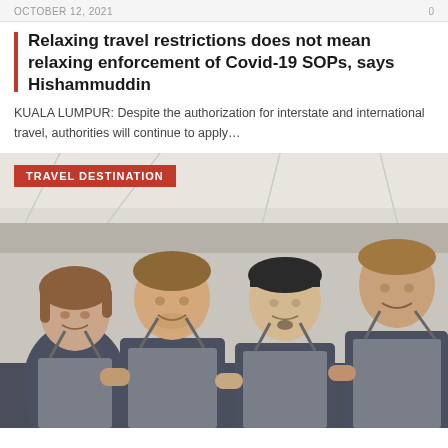OCTOBER 12, 2021   0
Relaxing travel restrictions does not mean relaxing enforcement of Covid-19 SOPs, says Hishammuddin
KUALA LUMPUR: Despite the authorization for interstate and international travel, authorities will continue to apply…
TRAVEL DESTINATION
[Figure (photo): Four people wearing dark navy blue t-shirts and grey aprons standing together smiling, posing in what appears to be an outdoor tent or market setting with white overhead covering.]